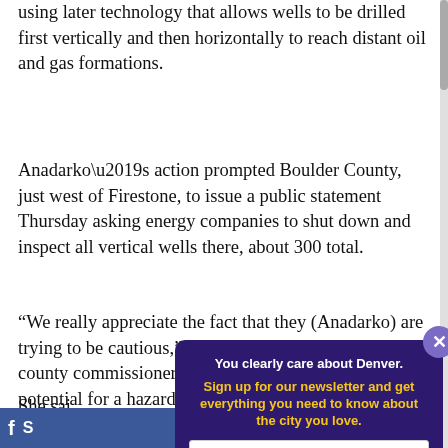using later technology that allows wells to be drilled first vertically and then horizontally to reach distant oil and gas formations.
Anadarko’s action prompted Boulder County, just west of Firestone, to issue a public statement Thursday asking energy companies to shut down and inspect all vertical wells there, about 300 total.
“We really appreciate the fact that they (Anadarko) are trying to be cautious,” Michelle Krezek, a deputy to the county commissioners, said Friday. “For us, if there’s a potential for a hazard, then we should be shutting down all those types of wells, not just Anadarko’s.
She said... operator...
[Figure (screenshot): Newsletter signup popup overlay with dark purple background. Title: 'You clearly care about Denver.' in white bold text. Subtitle: 'Sign up for our newsletter and get everything you need to know about the city you love.' in yellow bold text. Input field: 'Enter your email address here'. Close button (X) in purple circle top-right.]
[Figure (other): Facebook share bar at bottom left showing Facebook icon and 'S' text in white on blue background.]